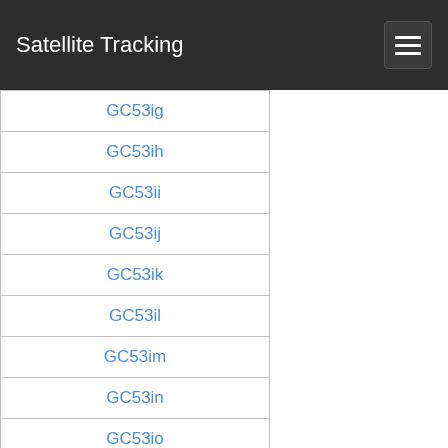Satellite Tracking
GC53ig
GC53ih
GC53ii
GC53ij
GC53ik
GC53il
GC53im
GC53in
GC53io
GC53ip
GC53iq
GC53ir
GC53is
GC53it
GC53iu
GC53iv
GC53iw